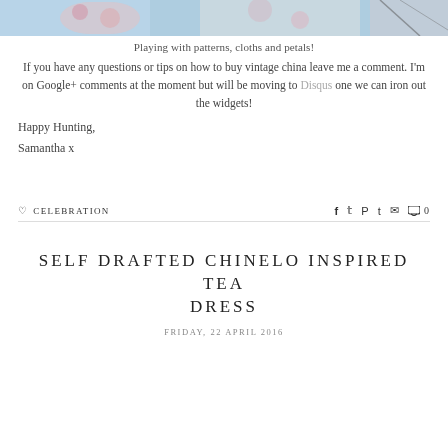[Figure (photo): Partial top image showing floral fabric patterns in blue and pink tones]
Playing with patterns, cloths and petals!
If you have any questions or tips on how to buy vintage china leave me a comment. I'm on Google+ comments at the moment but will be moving to Disqus one we can iron out the widgets!
Happy Hunting,
Samantha x
♡ CELEBRATION
SELF DRAFTED CHINELO INSPIRED TEA DRESS
FRIDAY, 22 APRIL 2016